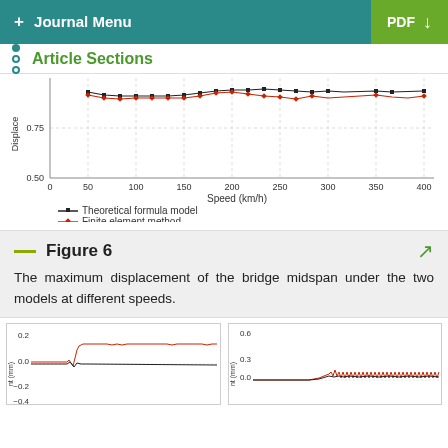+ Journal Menu | PDF ↓
Article Sections
[Figure (line-chart): Partially visible line chart showing maximum displacement vs speed (km/h) from 0 to 400 km/h. Two series: Theoretical formula model (black dots) and Finite element method (red dots). Y-axis shows values 0.50 and 0.75.]
Figure 6
The maximum displacement of the bridge midspan under the two models at different speeds.
[Figure (line-chart): Partially visible line chart (left), y-axis labeled nt (mm), range -0.4 to 0.2, with red oscillating signal.]
[Figure (line-chart): Partially visible line chart (right), y-axis labeled nt (mm), range unlabeled up to 0.6, with 0.3 and 0.0 visible, red oscillating signal.]